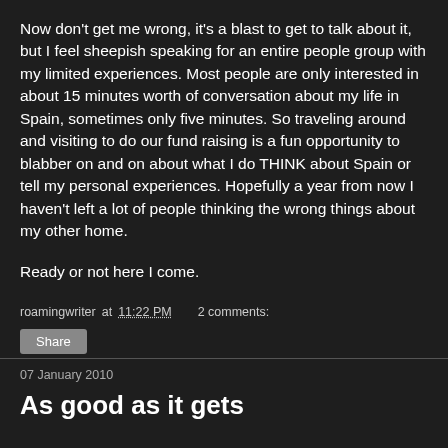Now don't get me wrong, it's a blast to get to talk about it, but I feel sheepish speaking for an entire people group with my limited experiences. Most people are only interested in about 15 minutes worth of conversation about my life in Spain, sometimes only five minutes. So traveling around and visiting to do our fund raising is a fun opportunity to blabber on and on about what I do THINK about Spain or tell my personal experiences. Hopefully a year from now I haven't left a lot of people thinking the wrong things about my other home.
Ready or not here I come.
roamingwriter at 11:22 PM   2 comments:
Share
07 January 2010
As good as it gets